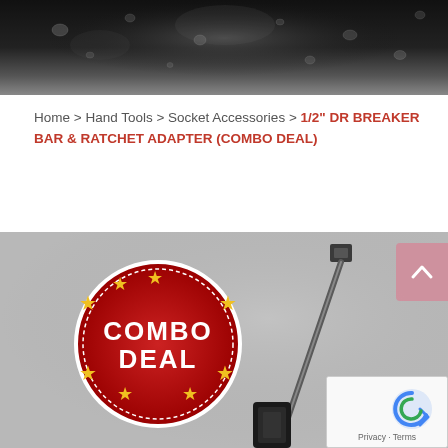[Figure (photo): Dark background with water droplets — website header banner image]
Home > Hand Tools > Socket Accessories > 1/2" DR BREAKER BAR & RATCHET ADAPTER (COMBO DEAL)
[Figure (photo): Product photo of a 1/2" DR breaker bar and ratchet adapter combo deal, showing the tool on a grey background with a red 'COMBO DEAL' badge with gold stars]